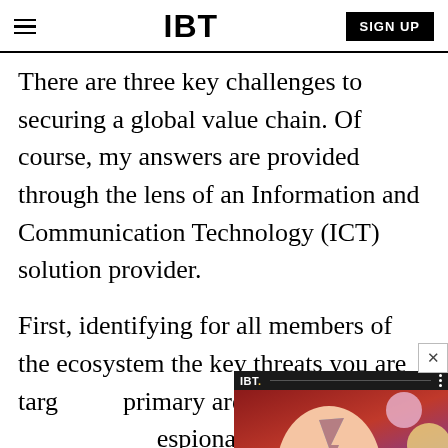IBT | SIGN UP
There are three key challenges to securing a global value chain. Of course, my answers are provided through the lens of an Information and Communication Technology (ICT) solution provider.
First, identifying for all members of the ecosystem the key threats you are targ... primary areas of concern I ... espionage and disruption.
[Figure (screenshot): IBT advertisement overlay showing a person with face paint and colorful bubbles, with caption 'NewSpiderGenus,Se...' and a close button]